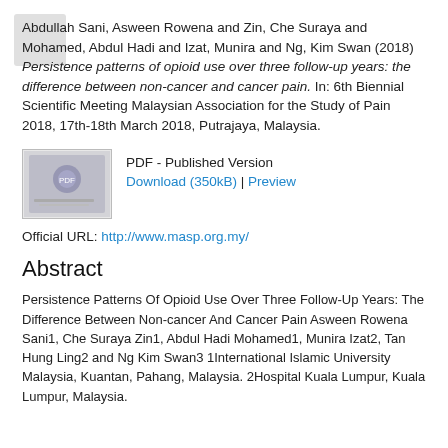Abdullah Sani, Asween Rowena and Zin, Che Suraya and Mohamed, Abdul Hadi and Izat, Munira and Ng, Kim Swan (2018) Persistence patterns of opioid use over three follow-up years: the difference between non-cancer and cancer pain. In: 6th Biennial Scientific Meeting Malaysian Association for the Study of Pain 2018, 17th-18th March 2018, Putrajaya, Malaysia.
[Figure (other): Thumbnail image of PDF document cover page]
PDF - Published Version
Download (350kB) | Preview
Official URL: http://www.masp.org.my/
Abstract
Persistence Patterns Of Opioid Use Over Three Follow-Up Years: The Difference Between Non-cancer And Cancer Pain Asween Rowena Sani1, Che Suraya Zin1, Abdul Hadi Mohamed1, Munira Izat2, Tan Hung Ling2 and Ng Kim Swan3 1International Islamic University Malaysia, Kuantan, Pahang, Malaysia. 2Hospital Kuala Lumpur, Kuala Lumpur, Malaysia.